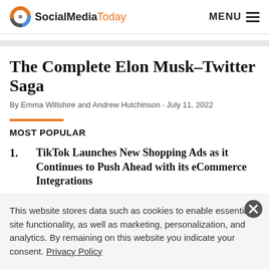SocialMediaToday   MENU
The Complete Elon Musk–Twitter Saga
By Emma Wiltshire and Andrew Hutchinson · July 11, 2022
MOST POPULAR
1. TikTok Launches New Shopping Ads as it Continues to Push Ahead with its eCommerce Integrations
This website stores data such as cookies to enable essential site functionality, as well as marketing, personalization, and analytics. By remaining on this website you indicate your consent. Privacy Policy